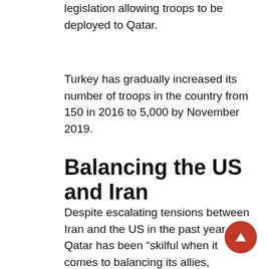legislation allowing troops to be deployed to Qatar.
Turkey has gradually increased its number of troops in the country from 150 in 2016 to 5,000 by November 2019.
Balancing the US and Iran
Despite escalating tensions between Iran and the US in the past year, Qatar has been “skilful when it comes to balancing its allies, neighbors and partners off of one another”, Cafiero said.
Initially, US President Donald Trump expressed support for the blockade in a